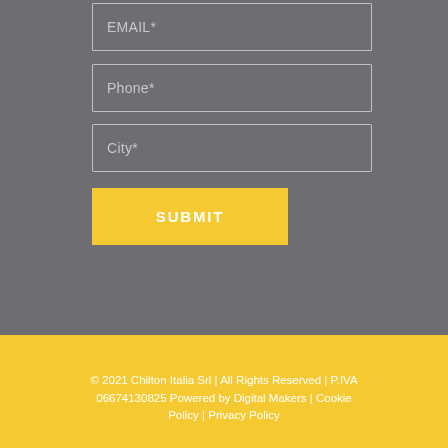EMAIL*
Phone*
City*
SUBMIT
© 2021 Chilton Italia Srl | All Rights Reserved | P.IVA 06674130825 Powered by Digital Makers | Cookie Policy | Privacy Policy